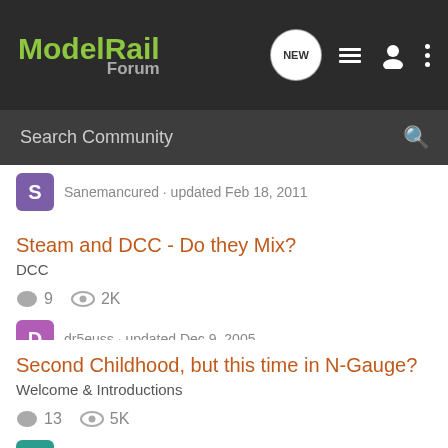ModelRail Forum — navigation header with logo, NEW, list, user, and menu icons, plus search bar
Sanemancured · updated Feb 18, 2011
Steam and DCC - Do they Mix?
DCC
9 replies · 2K views
dr5euss · updated Dec 9, 2005
Second Childhood, but this time in N-Gauge?
Welcome & Introductions
13 replies · 5K views
hawkmoth · updated Mar 8, 2008